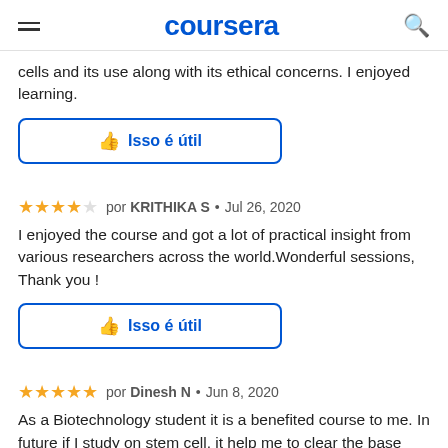coursera
cells and its use along with its ethical concerns. I enjoyed learning.
Isso é útil
★★★★☆ por KRITHIKA S • Jul 26, 2020
I enjoyed the course and got a lot of practical insight from various researchers across the world.Wonderful sessions, Thank you !
Isso é útil
★★★★★ por Dinesh N • Jun 8, 2020
As a Biotechnology student it is a benefited course to me. In future if I study on stem cell, it help me to clear the base know...